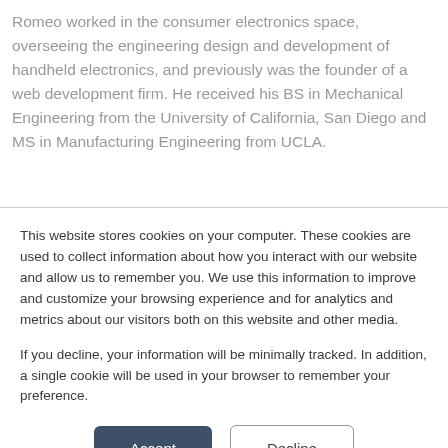Romeo worked in the consumer electronics space, overseeing the engineering design and development of handheld electronics, and previously was the founder of a web development firm. He received his BS in Mechanical Engineering from the University of California, San Diego and MS in Manufacturing Engineering from UCLA.
This website stores cookies on your computer. These cookies are used to collect information about how you interact with our website and allow us to remember you. We use this information to improve and customize your browsing experience and for analytics and metrics about our visitors both on this website and other media.
If you decline, your information will be minimally tracked. In addition, a single cookie will be used in your browser to remember your preference.
Accept
Decline